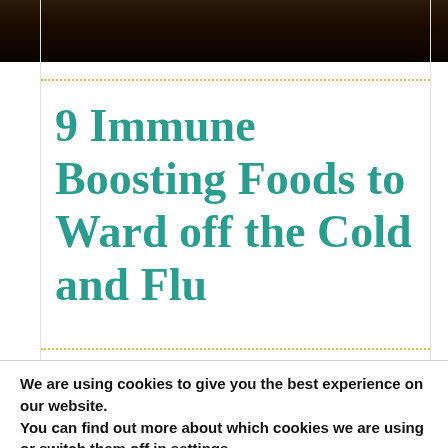[Figure (photo): Partial view of a dark food/ingredients photograph at the top of the page]
9 Immune Boosting Foods to Ward off the Cold and Flu
We are using cookies to give you the best experience on our website.
You can find out more about which cookies we are using or switch them off in settings.
Accept